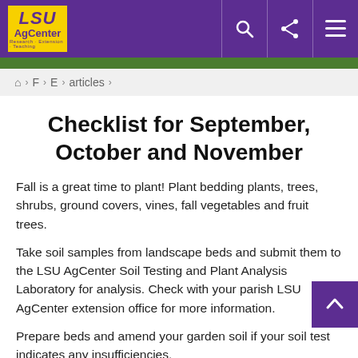LSU AgCenter - header navigation bar with logo, search, share, and menu icons
F > E > articles >
Checklist for September, October and November
Fall is a great time to plant! Plant bedding plants, trees, shrubs, ground covers, vines, fall vegetables and fruit trees.
Take soil samples from landscape beds and submit them to the LSU AgCenter Soil Testing and Plant Analysis Laboratory for analysis. Check with your parish LSU AgCenter extension office for more information.
Prepare beds and amend your garden soil if your soil test indicates any insufficiencies.
Enjoy fall-blooming plants. Many spring- and summer-blooming plants will re-grow into the fall. This is a great...